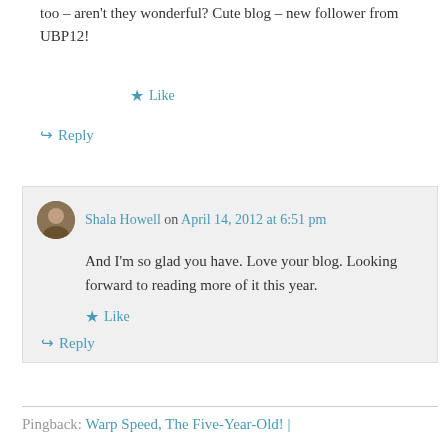too – aren't they wonderful? Cute blog – new follower from UBP12!
★ Like
↪ Reply
Shala Howell on April 14, 2012 at 6:51 pm
And I'm so glad you have. Love your blog. Looking forward to reading more of it this year.
★ Like
↪ Reply
Pingback: Warp Speed, The Five-Year-Old! |